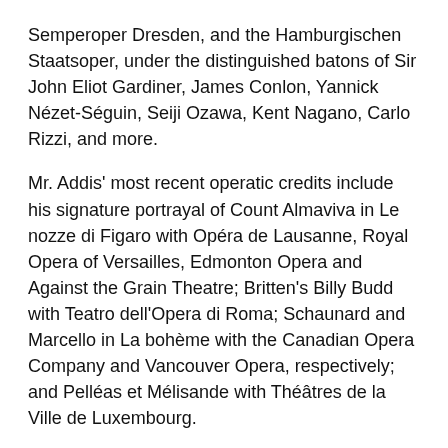Semperoper Dresden, and the Hamburgischen Staatsoper, under the distinguished batons of Sir John Eliot Gardiner, James Conlon, Yannick Nézet-Séguin, Seiji Ozawa, Kent Nagano, Carlo Rizzi, and more.
Mr. Addis' most recent operatic credits include his signature portrayal of Count Almaviva in Le nozze di Figaro with Opéra de Lausanne, Royal Opera of Versailles, Edmonton Opera and Against the Grain Theatre; Britten's Billy Budd with Teatro dell'Opera di Roma; Schaunard and Marcello in La bohème with the Canadian Opera Company and Vancouver Opera, respectively; and Pelléas et Mélisande with Théâtres de la Ville de Luxembourg.
In the 2022-23 season, Mr. Addis will return to cherished roles including Zurga in Bizet's Les pêcheurs de perles with Vancouver Opera, and Pelléas with Teatro Municipale di Piacenza and Teatro Comunale di Modena. He will also make exciting debuts as Don Alfonso in Pacific Opera Victoria's production of Così fan tutte and as Shaunard in